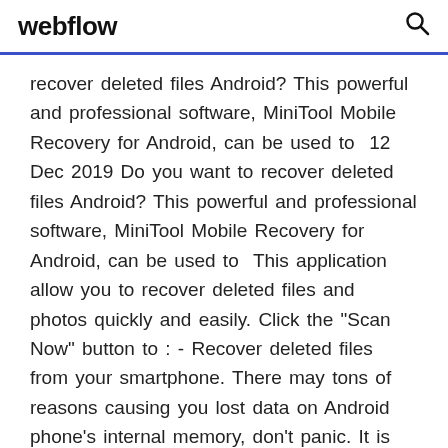webflow
recover deleted files Android? This powerful and professional software, MiniTool Mobile Recovery for Android, can be used to  12 Dec 2019 Do you want to recover deleted files Android? This powerful and professional software, MiniTool Mobile Recovery for Android, can be used to  This application allow you to recover deleted files and photos quickly and easily. Click the "Scan Now" button to : - Recover deleted files from your smartphone. There may tons of reasons causing you lost data on Android phone's internal memory, don't panic. It is definitely sure that you can retrieve deleted files from  13 Jun 2016 Luckily, if you find yourself scrambling to restore your